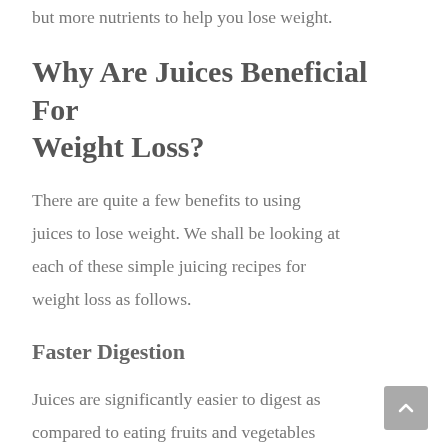but more nutrients to help you lose weight.
Why Are Juices Beneficial For Weight Loss?
There are quite a few benefits to using juices to lose weight. We shall be looking at each of these simple juicing recipes for weight loss as follows.
Faster Digestion
Juices are significantly easier to digest as compared to eating fruits and vegetables